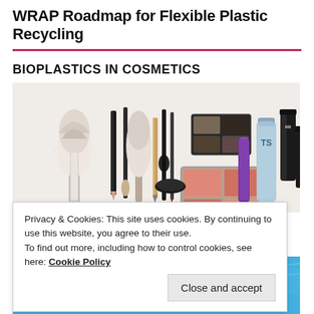WRAP Roadmap for Flexible Plastic Recycling
BIOPLASTICS IN COSMETICS
[Figure (photo): Collection of cosmetics products including brushes, pencils, palettes, lipstick, mascara, BB cream, and other makeup items arranged together]
Privacy & Cookies: This site uses cookies. By continuing to use this website, you agree to their use.
To find out more, including how to control cookies, see here: Cookie Policy
Close and accept
[Figure (photo): Colorful flip-flop sandals floating in blue water with a person swimming underwater visible]